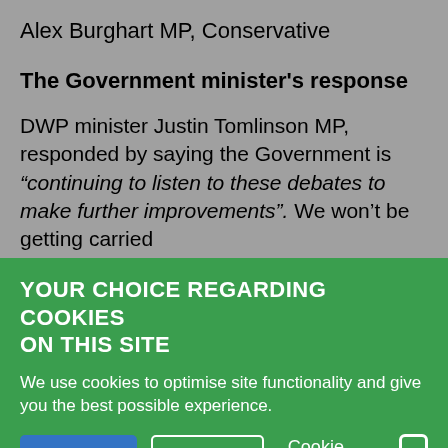Alex Burghart MP, Conservative
The Government minister's response
DWP minister Justin Tomlinson MP, responded by saying the Government is “continuing to listen to these debates to make further improvements”. We won’t be getting carried
YOUR CHOICE REGARDING COOKIES ON THIS SITE
We use cookies to optimise site functionality and give you the best possible experience.
Accept | Reject | Cookie Preferences | X